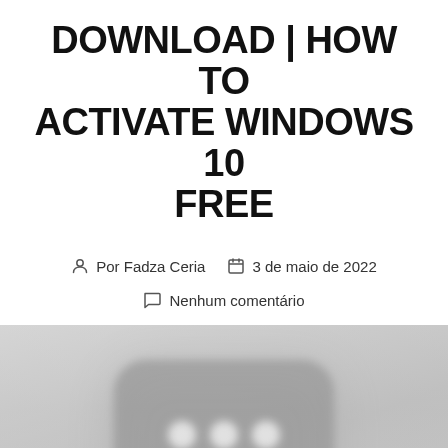DOWNLOAD | HOW TO ACTIVATE WINDOWS 10 FREE
Por Fadza Ceria   3 de maio de 2022
Nenhum comentário
[Figure (photo): Grayscale blurred image showing a rounded rectangle icon with three white dots on a light gray background]